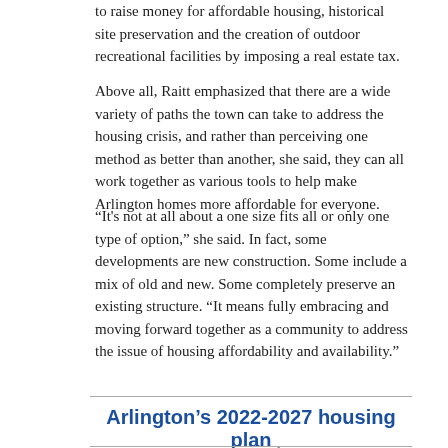to raise money for affordable housing, historical site preservation and the creation of outdoor recreational facilities by imposing a real estate tax.
Above all, Raitt emphasized that there are a wide variety of paths the town can take to address the housing crisis, and rather than perceiving one method as better than another, she said, they can all work together as various tools to help make Arlington homes more affordable for everyone.
“It's not at all about a one size fits all or only one type of option,” she said. In fact, some developments are new construction. Some include a mix of old and new. Some completely preserve an existing structure. “It means fully embracing and moving forward together as a community to address the issue of housing affordability and availability.”
Arlington’s 2022-2027 housing plan
This explanatory news report by freelancer Katie Mogg, a second-year journalism student at Northeastern University, was published Sunday, April 24, 2022.